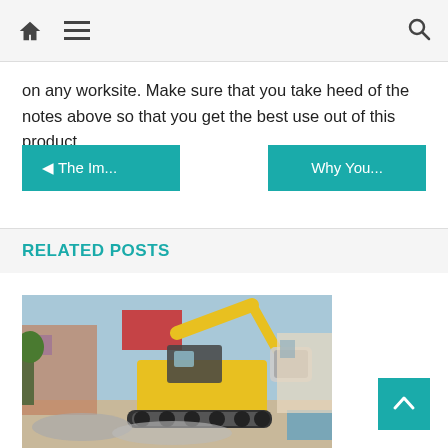Home | Menu | Search
on any worksite. Make sure that you take heed of the notes above so that you get the best use out of this product.
◄ The Im...
Why You...
RELATED POSTS
[Figure (photo): Yellow excavator demolishing a building, surrounded by rubble and debris on a construction/demolition site.]